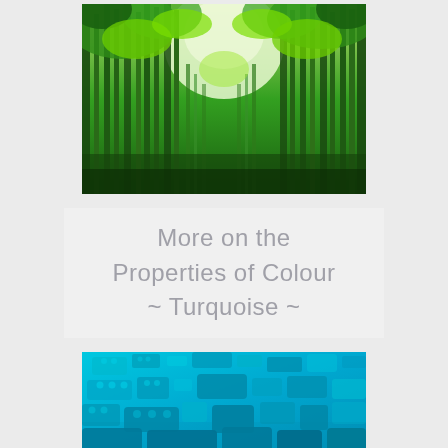[Figure (photo): Bamboo forest viewed from below, tall green bamboo stalks reaching upward with bright green foliage and light sky visible through the canopy]
More on the Properties of Colour ~ Turquoise ~
[Figure (photo): Pile of turquoise/cyan colored LEGO bricks scattered together, photographed close up with slight blur/bokeh effect]